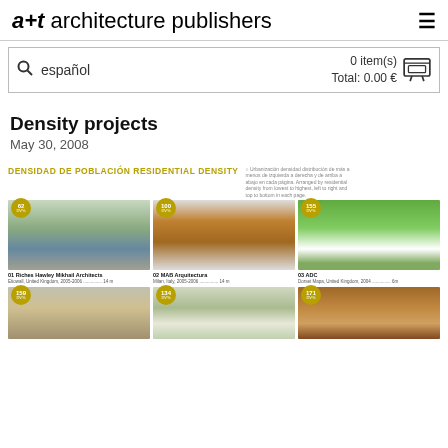a+t architecture publishers
español   0 item(s)   Total: 0.00 €
Density projects
May 30, 2008
[Figure (screenshot): Screenshot of a+t architecture publishers website showing a page titled 'Density projects' with a grid of architectural project images. Top section shows 'DENSIDAD DE POBLACIÓN RESIDENTIAL DENSITY' heading in gold/olive color. Six project thumbnails visible: 01 Riches Hawley Mikhail Architects (Etiowall, United Kingdom, 2005-2006), 02 MAB Arquitectura (Milan, Italy, 2005-2006), 03 ADC (Dorset Mapa, United Kingdom, 2004), and three more projects in a second row with numbers 04, 05, 06.]